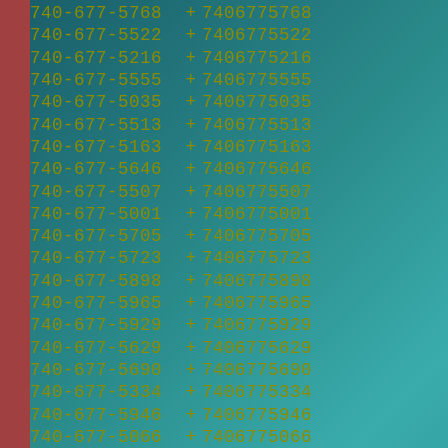740-677-5768 + 7406775768
740-677-5522 + 7406775522
740-677-5216 + 7406775216
740-677-5555 + 7406775555
740-677-5035 + 7406775035
740-677-5513 + 7406775513
740-677-5163 + 7406775163
740-677-5646 + 7406775646
740-677-5507 + 7406775507
740-677-5001 + 7406775001
740-677-5705 + 7406775705
740-677-5723 + 7406775723
740-677-5898 + 7406775898
740-677-5965 + 7406775965
740-677-5929 + 7406775929
740-677-5629 + 7406775629
740-677-5690 + 7406775690
740-677-5334 + 7406775334
740-677-5946 + 7406775946
740-677-5066 + 7406775066
740-677-5579 + 7406775579
740-677-5408 + 7406775408